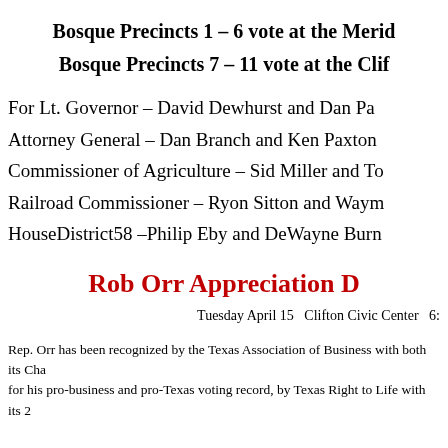Bosque Precincts 1 – 6 vote at the Merid...
Bosque Precincts 7 – 11 vote at the Clif...
For Lt. Governor  –  David Dewhurst and Dan Pa...
Attorney General – Dan Branch and Ken Paxton...
Commissioner of Agriculture – Sid Miller and T...
Railroad Commissioner – Ryon Sitton and Wayn...
HouseDistrict58  –Philip Eby and DeWayne Burn...
Rob Orr Appreciation D...
Tuesday April 15   Clifton Civic Center   6:...
Rep. Orr has been recognized by the Texas Association of Business with both its Cha... for his pro-business and pro-Texas voting record, by Texas Right to Life with its 2... Nurse Practitioners with its 2010 Texas Nurse Practitioner Advocate Award, the He...